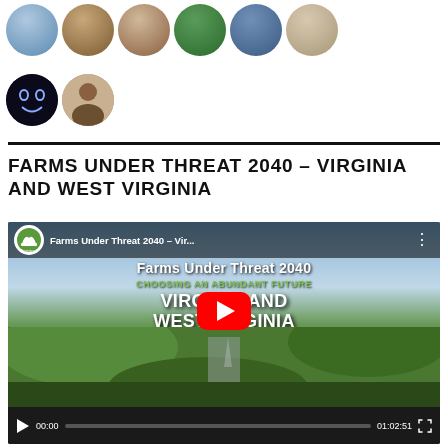[Figure (illustration): Row of circular avatar/profile images: row 1 has 6 avatars (blue/winter scene, patterned fabric, person, green leaf/pinwheel, blue fabric, white dome/building); row 2 has 2 avatars (dark smiley face, Asian man portrait)]
FARMS UNDER THREAT 2040 – VIRGINIA AND WEST VIRGINIA
[Figure (screenshot): YouTube video embed showing 'Farms Under Threat 2040 – Virginia and West Virginia' with American Farmland Trust branding. Thumbnail shows aerial landscape with text 'Farms Under Threat 2040 / Choosing an Abundant Future / Virginia and West Virginia' and YouTube play button. Video controls show 00:00 timestamp, progress bar, 01:02:51 duration, and fullscreen button.]